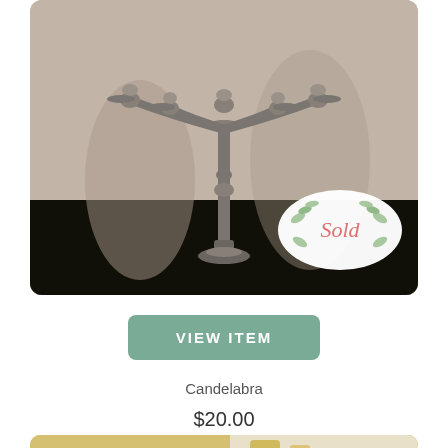[Figure (photo): Silver candelabra with five arms on a dark table against a beige wall, with a white oval 'Sold' badge with eucalyptus leaf decoration in the lower right corner of the photo.]
VIEW ITEM
Candelabra
$20.00
[Figure (photo): Partial view of another product photo showing gold/yellow decorative items on a light surface.]